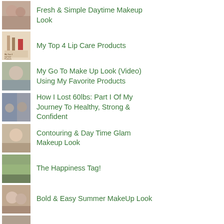Fresh & Simple Daytime Makeup Look
My Top 4 Lip Care Products
My Go To Make Up Look (Video) Using My Favorite Products
How I Lost 60lbs: Part I Of My Journey To Healthy, Strong & Confident
Contouring & Day Time Glam Makeup Look
The Happiness Tag!
Bold & Easy Summer MakeUp Look